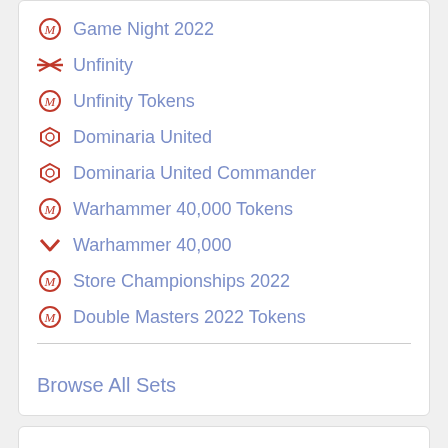Game Night 2022
Unfinity
Unfinity Tokens
Dominaria United
Dominaria United Commander
Warhammer 40,000 Tokens
Warhammer 40,000
Store Championships 2022
Double Masters 2022 Tokens
Browse All Sets
zevlor elturel exile yoshimaru ever faithful Yawgmoth Thran Physician Wall of Omens Tournament Topps